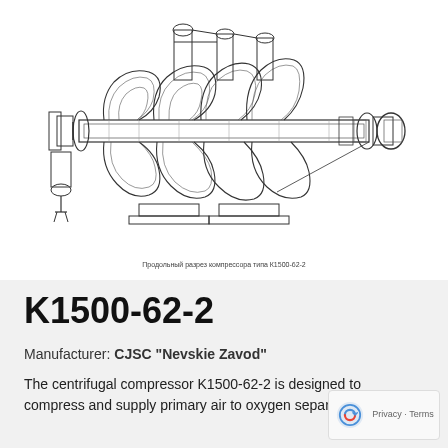[Figure (engineering-diagram): Cross-sectional longitudinal view of centrifugal compressor K1500-62-2, showing internal components including impellers, shaft, casings, volutes, and mechanical assemblies. Technical line drawing in black and white.]
Продольный разрез компрессора типа К1500-62-2
K1500-62-2
Manufacturer: CJSC "Nevskie Zavod"
The centrifugal compressor K1500-62-2 is designed to compress and supply primary air to oxygen separation